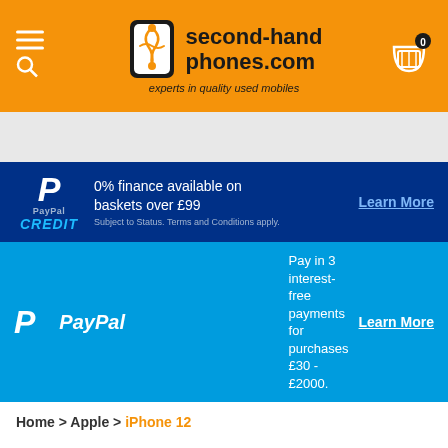[Figure (logo): second-hand phones.com website header with orange background, logo, menu icon, and cart icon]
[Figure (infographic): PayPal Credit banner: 0% finance available on baskets over £99. Subject to Status. Terms and Conditions apply. Learn More]
[Figure (infographic): PayPal banner: Pay in 3 interest-free payments for purchases £30 - £2000. Learn More]
Home > Apple > iPhone 12
Second Hand, Refurbished Apple iPhone 12's
Sort By  Position
Showing 1 - 1 of 1 results